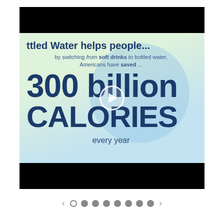[Figure (infographic): Slideshow infographic showing 'Bottled Water helps people...' — by switching from soft drinks to bottled water, Americans have saved 300 billion CALORIES every year. Black bars at top and bottom, light green/blue gradient background with circle shape, large bold navy text, play button overlay, left/right navigation arrows, and dot navigation row at bottom.]